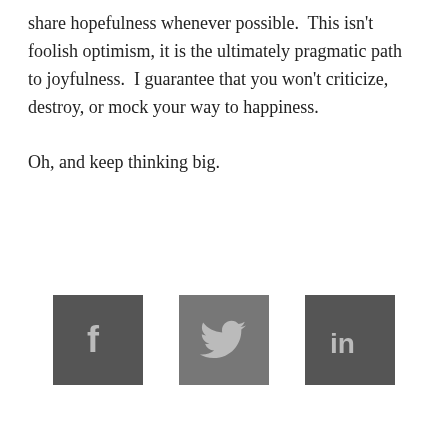share hopefulness whenever possible.  This isn't foolish optimism, it is the ultimately pragmatic path to joyfulness.  I guarantee that you won't criticize, destroy, or mock your way to happiness.

Oh, and keep thinking big.
[Figure (infographic): Three social media icon squares: Facebook (f), Twitter (bird), LinkedIn (in), all in dark gray with light gray icons]
LEAVE A COMMENT
[Figure (infographic): Comment text area input box with placeholder text 'LEAVE YOUR COMMENT' in light blue uppercase]
[Figure (infographic): Scroll-to-top button (gray square with up arrow) and two shopping cart widgets with 0 badge counts]